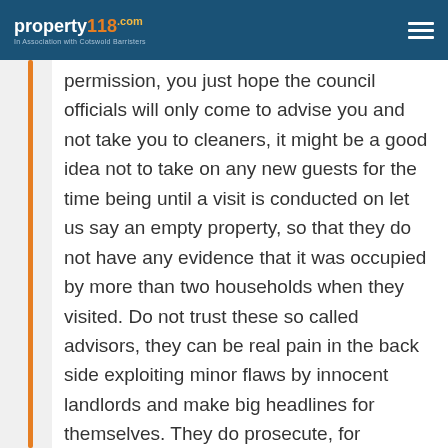property118.com | In Association with Cotswold Barristers
permission, you just hope the council officials will only come to advise you and not take you to cleaners, it might be a good idea not to take on any new guests for the time being until a visit is conducted on let us say an empty property, so that they do not have any evidence that it was occupied by more than two households when they visited. Do not trust these so called advisors, they can be real pain in the back side exploiting minor flaws by innocent landlords and make big headlines for themselves. They do prosecute, for offences that have been